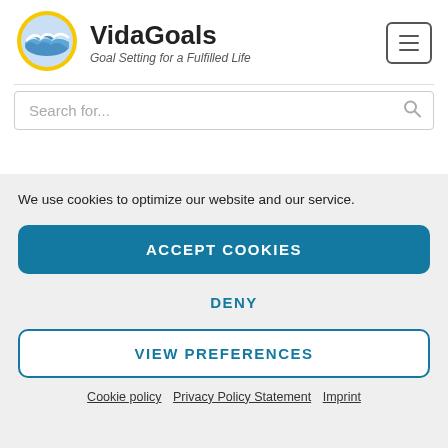[Figure (logo): VidaGoals wave logo: circular badge with yellow border, blue ocean wave on light blue background]
VidaGoals
Goal Setting for a Fulfilled Life
[Figure (other): Hamburger menu button with three horizontal lines, square with rounded corners border]
Search for...
We use cookies to optimize our website and our service.
ACCEPT COOKIES
DENY
VIEW PREFERENCES
Cookie policy   Privacy Policy Statement   Imprint